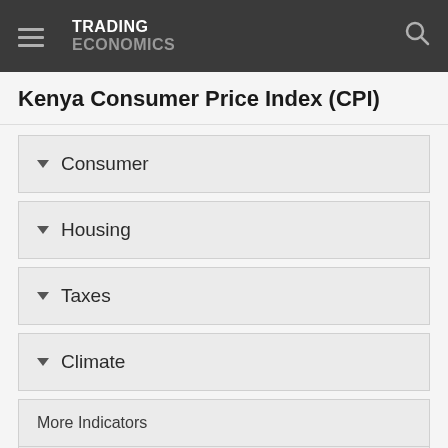TRADING ECONOMICS
Kenya Consumer Price Index (CPI)
Consumer
Housing
Taxes
Climate
More Indicators
National Statistics
World Bank